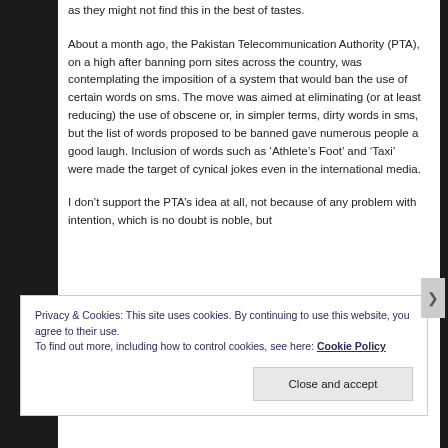as they might not find this in the best of tastes.
About a month ago, the Pakistan Telecommunication Authority (PTA), on a high after banning porn sites across the country, was contemplating the imposition of a system that would ban the use of certain words on sms. The move was aimed at eliminating (or at least reducing) the use of obscene or, in simpler terms, dirty words in sms, but the list of words proposed to be banned gave numerous people a good laugh. Inclusion of words such as ‘Athlete’s Foot’ and ‘Taxi’ were made the target of cynical jokes even in the international media.
I don’t support the PTA’s idea at all, not because of any problem with intention, which is no doubt is noble, but
Privacy & Cookies: This site uses cookies. By continuing to use this website, you agree to their use.
To find out more, including how to control cookies, see here: Cookie Policy